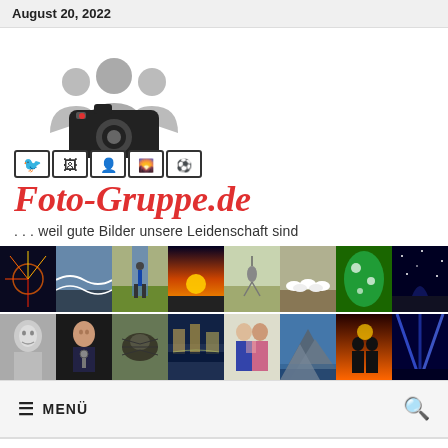August 20, 2022
[Figure (logo): Foto-Gruppe.de website logo with silhouette group of people and camera icon, plus icon strip with 5 category icons]
Foto-Gruppe.de
... weil gute Bilder unsere Leidenschaft sind
[Figure (photo): Two rows of 8 photography thumbnail images each showing various subjects: fireworks, waves, soccer player, sunset, crane bird, sheep, water drops on leaf, night sky; plus black-and-white portrait, singer, insect, canal city, couple, mountain, couple silhouette, light beams]
≡  MENÜ
SCHLAGWORT: 2020